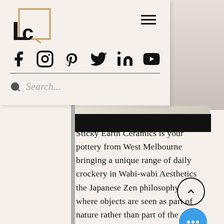[Figure (logo): LC logo with square bracket frame in tan/gold color]
[Figure (infographic): Social media icons row: Facebook, Instagram, Pinterest, Twitter, LinkedIn, YouTube]
Search...
[Figure (photo): Partial photo visible on right side, light colored ceramics or tableware]
Sticky Earth Ceramics is your pottery from West Melbourne bringing a unique range of daily crockery in Wabi-wabi Aesthetics the Japanese Zen philosophy where objects are seen as part of nature rather than part of the cupboard.